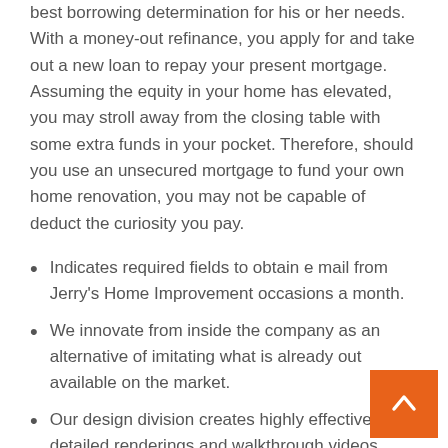best borrowing determination for his or her needs. With a money-out refinance, you apply for and take out a new loan to repay your present mortgage. Assuming the equity in your home has elevated, you may stroll away from the closing table with some extra funds in your pocket. Therefore, should you use an unsecured mortgage to fund your own home renovation, you may not be capable of deduct the curiosity you pay.
Indicates required fields to obtain e mail from Jerry's Home Improvement occasions a month.
We innovate from inside the company as an alternative of imitating what is already out available on the market.
Our design division creates highly effective, detailed renderings and walkthrough videos during the planning of your project.